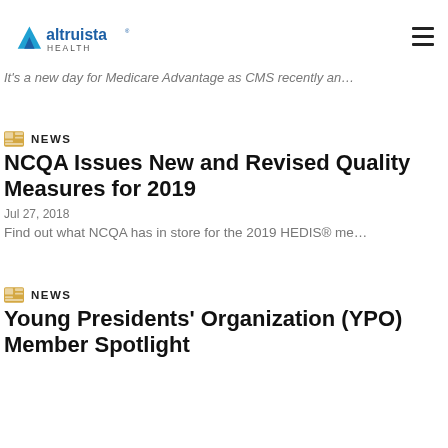[Figure (logo): Altruista Health logo with blue triangle and wordmark]
It's a new day for Medicare Advantage as CMS recently an…
NEWS
NCQA Issues New and Revised Quality Measures for 2019
Jul 27, 2018
Find out what NCQA has in store for the 2019 HEDIS® me…
NEWS
Young Presidents' Organization (YPO) Member Spotlight